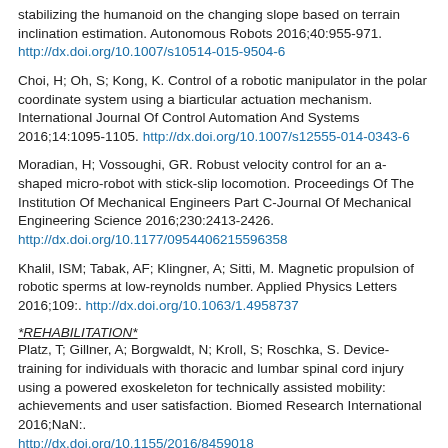stabilizing the humanoid on the changing slope based on terrain inclination estimation. Autonomous Robots 2016;40:955-971. http://dx.doi.org/10.1007/s10514-015-9504-6
Choi, H; Oh, S; Kong, K. Control of a robotic manipulator in the polar coordinate system using a biarticular actuation mechanism. International Journal Of Control Automation And Systems 2016;14:1095-1105. http://dx.doi.org/10.1007/s12555-014-0343-6
Moradian, H; Vossoughi, GR. Robust velocity control for an a-shaped micro-robot with stick-slip locomotion. Proceedings Of The Institution Of Mechanical Engineers Part C-Journal Of Mechanical Engineering Science 2016;230:2413-2426. http://dx.doi.org/10.1177/0954406215596358
Khalil, ISM; Tabak, AF; Klingner, A; Sitti, M. Magnetic propulsion of robotic sperms at low-reynolds number. Applied Physics Letters 2016;109:. http://dx.doi.org/10.1063/1.4958737
*REHABILITATION*
Platz, T; Gillner, A; Borgwaldt, N; Kroll, S; Roschka, S. Device-training for individuals with thoracic and lumbar spinal cord injury using a powered exoskeleton for technically assisted mobility: achievements and user satisfaction. Biomed Research International 2016;NaN:. http://dx.doi.org/10.1155/2016/8459018
Berzina, G; Smilskalne, B; Vetra, A; Sunnerhagen, KS. Living in latvia after stroke: the association between functional, social and personal factors and the level of self-perceived disability - a cross-sectional study. Bmj Open 2016;6:. http://dx.doi.org/10.1136/bmjopen-2015-010327